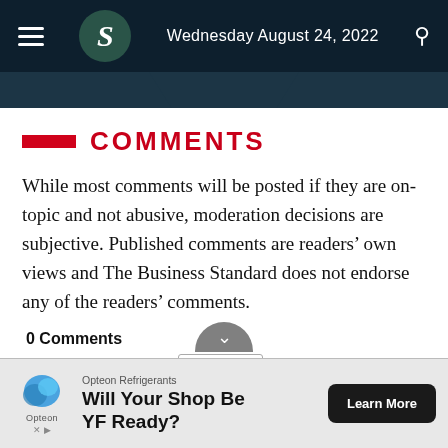Wednesday August 24, 2022
COMMENTS
While most comments will be posted if they are on-topic and not abusive, moderation decisions are subjective. Published comments are readers' own views and The Business Standard does not endorse any of the readers' comments.
0 Comments
Sort by Newest
[Figure (other): Advertisement banner: Opteon Refrigerants – Will Your Shop Be YF Ready? with Learn More button]